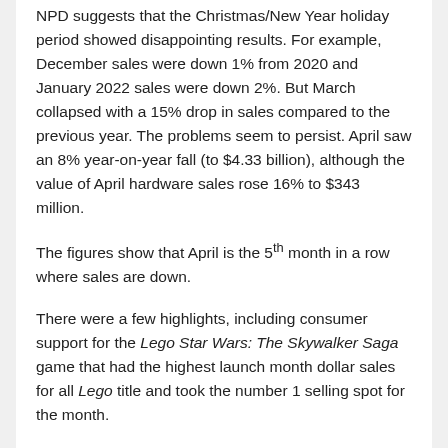NPD suggests that the Christmas/New Year holiday period showed disappointing results. For example, December sales were down 1% from 2020 and January 2022 sales were down 2%. But March collapsed with a 15% drop in sales compared to the previous year. The problems seem to persist. April saw an 8% year-on-year fall (to $4.33 billion), although the value of April hardware sales rose 16% to $343 million.
The figures show that April is the 5th month in a row where sales are down.
There were a few highlights, including consumer support for the Lego Star Wars: The Skywalker Saga game that had the highest launch month dollar sales for all Lego title and took the number 1 selling spot for the month.
A note on the sector from the investment bank Exane/BNPP indicates that there are still reasons for optimism in the short and longer term: